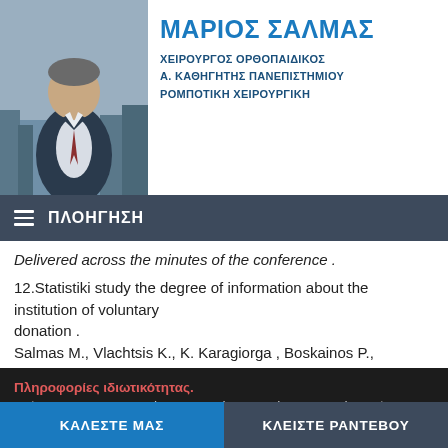[Figure (photo): Portrait photo of a man in a suit, used as profile image for Dr. Marios Salmas]
ΜΑΡΙΟΣ ΣΑΛΜΑΣ
ΧΕΙΡΟΥΡΓΟΣ ΟΡΘΟΠΑΙΔΙΚΟΣ
Α. ΚΑΘΗΓΗΤΗΣ ΠΑΝΕΠΙΣΤΗΜΙΟΥ
ΡΟΜΠΟΤΙΚΗ ΧΕΙΡΟΥΡΓΙΚΗ
≡  ΠΛΟΗΓΗΣΗ
Delivered across the minutes of the conference .
12.Statistiki study the degree of information about the institution of voluntary donation .
Salmas M., Vlachtsis K., K. Karagiorga , Boskainos P.,
Πληροφορίες ιδιωτικότητας.
Χρήση cookies και συναφών τεχνολογιών για καλύτερη εμπειρία πλοήγησης.
ΑΠΟΡΡΙΨΗ   ΔΙΑΧΕΙΡΙΣΗ   ΑΠΟΔΟΧΗ ΟΛΩΝ
Περισσότερα για Όρους Χρήσης και Πολιτική Απορρήτου
13.Statistiki study for breast cancer in a population of Athens.
ΚΑΛΕΣΤΕ ΜΑΣ   ΚΛΕΙΣΤΕ ΡΑΝΤΕΒΟΥ